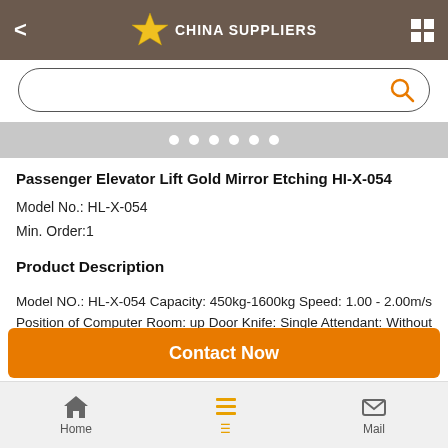CHINA SUPPLIERS
[Figure (screenshot): Search bar with orange search icon and rounded border]
[Figure (other): Carousel dot indicators (6 white dots on gray background)]
Passenger Elevator Lift Gold Mirror Etching HI-X-054
Model No.:  HL-X-054
Min. Order:1
Product Description
Model NO.: HL-X-054 Capacity: 450kg-1600kg Speed: 1.00 - 2.00m/s Position of Computer Room: up Door Knife: Single Attendant: Without Attendant Controller System: Nice3000 or Step Trademark: AKSEN OR OEM
Home   Mail